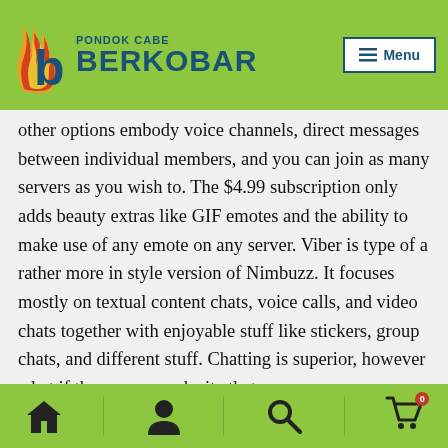Pondok Cabe Berkobar — Menu
other options embody voice channels, direct messages between individual members, and you can join as many servers as you wish to. The $4.99 subscription only adds beauty extras like GIF emotes and the ability to make use of any emote on any server. Viber is type of a rather more in style version of Nimbuzz. It focuses mostly on textual content chats, voice calls, and video chats together with enjoyable stuff like stickers, group chats, and different stuff. Chatting is superior, however what if there was a web site that you can use everywhere that you simply wanted it? This is a flash based mostly chat that you can embody in your
Home | User | Search | Cart (0)